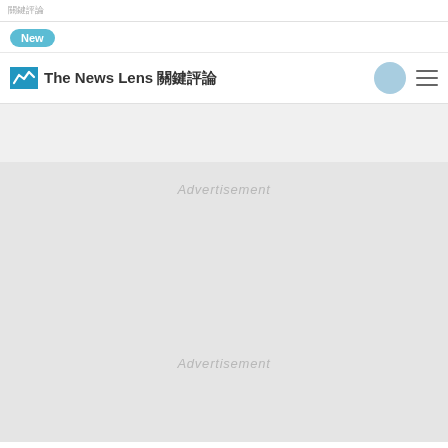The News Lens 關鍵評論
New
[Figure (screenshot): The News Lens 關鍵評論 website navigation bar with logo, user icon, and hamburger menu]
Advertisement
Advertisement